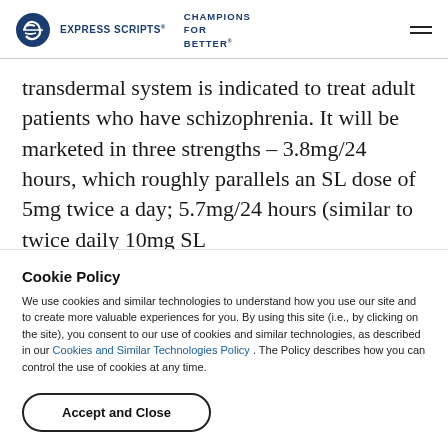EXPRESS SCRIPTS® CHAMPIONS FOR BETTER
transdermal system is indicated to treat adult patients who have schizophrenia. It will be marketed in three strengths – 3.8mg/24 hours, which roughly parallels an SL dose of 5mg twice a day; 5.7mg/24 hours (similar to twice daily 10mg SL dose); and 7.6mg/24 hours. One notable distinction is
Cookie Policy
We use cookies and similar technologies to understand how you use our site and to create more valuable experiences for you. By using this site (i.e., by clicking on the site), you consent to our use of cookies and similar technologies, as described in our Cookies and Similar Technologies Policy . The Policy describes how you can control the use of cookies at any time.
Accept and Close